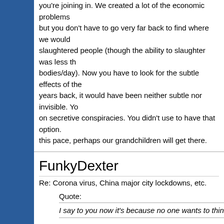you're joining in. We created a lot of the economic problems but you don't have to go very far back to find where we would slaughtered people (though the ability to slaughter was less th bodies/day). Now you have to look for the subtle effects of the years back, it would have been neither subtle nor invisible. Yo on secretive conspiracies. You didn't use to have that option. this pace, perhaps our grandchildren will get there.
FunkyDexter
Re: Corona virus, China major city lockdowns, etc.
Quote:
I say to you now it's because no one wants to think critic
The thing is, most of what's happening in this thread isn't criti
I'm all for challenging main stream science. In fact the ongoing function of science. It's what separates science from religion a concerned. But that's not just a case of coming up with a diffe how it is". It requires scientific rigour.
Without that what we have is simple grand standing and it's da conclusions that, in turn, lead to bad outcomes. People die ne